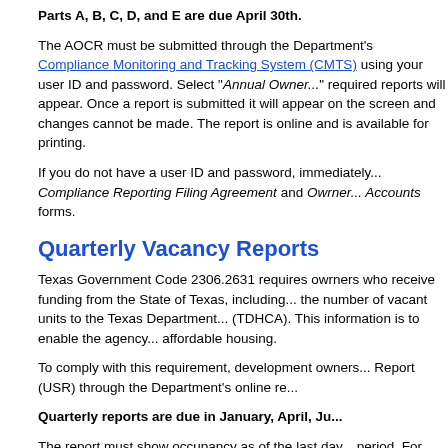Parts A, B, C, D, and E are due April 30th.
The AOCR must be submitted through the Department's Compliance Monitoring and Tracking System (CMTS) using your user ID and password. Select "Annual Owner..." required reports will appear. Once a report is submitted it will appear on the screen and changes cannot be made. The report is online and is available for printing.
If you do not have a user ID and password, immediately... Compliance Reporting Filing Agreement and Owner... Accounts forms.
Quarterly Vacancy Reports
Texas Government Code 2306.2631 requires owners who receive funding from the State of Texas, including... the number of vacant units to the Texas Department... (TDHCA). This information is to enable the agency... affordable housing.
To comply with this requirement, development owners... Report (USR) through the Department's online re...
Quarterly reports are due in January, April, Ju...
The report must show occupancy as of the last da... period. For example, the quarterly report due Oct...